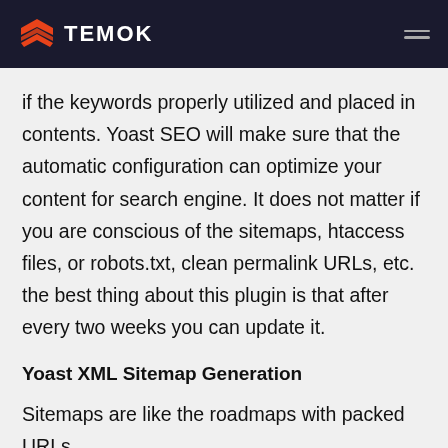TEMOK
if the keywords properly utilized and placed in contents. Yoast SEO will make sure that the automatic configuration can optimize your content for search engine. It does not matter if you are conscious of the sitemaps, htaccess files, or robots.txt, clean permalink URLs, etc. the best thing about this plugin is that after every two weeks you can update it.
Yoast XML Sitemap Generation
Sitemaps are like the roadmaps with packed URLs